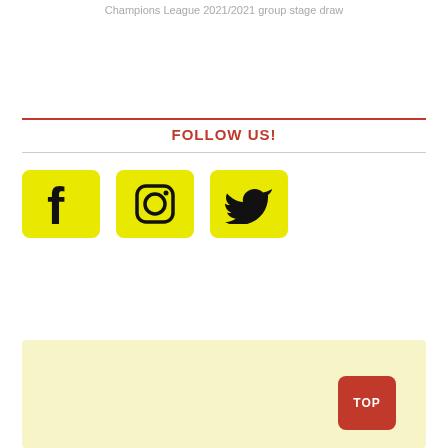Champions League 2021/2021 group stage draw
FOLLOW US!
[Figure (illustration): Three yellow square buttons with social media icons: Facebook (f), Instagram (camera/circle), Twitter (bird)]
[Figure (other): Light yellow advertisement/banner area with a red TOP button in the bottom right corner]